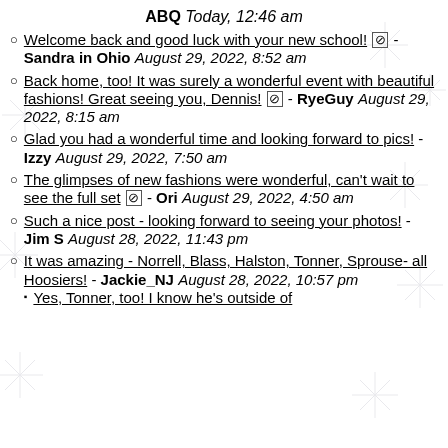ABQ Today, 12:46 am
Welcome back and good luck with your new school! [icon] - Sandra in Ohio August 29, 2022, 8:52 am
Back home, too! It was surely a wonderful event with beautiful fashions! Great seeing you, Dennis! [icon] - RyeGuy August 29, 2022, 8:15 am
Glad you had a wonderful time and looking forward to pics! - Izzy August 29, 2022, 7:50 am
The glimpses of new fashions were wonderful, can't wait to see the full set [icon] - Ori August 29, 2022, 4:50 am
Such a nice post - looking forward to seeing your photos! - Jim S August 28, 2022, 11:43 pm
It was amazing - Norrell, Blass, Halston, Tonner, Sprouse- all Hoosiers! - Jackie_NJ August 28, 2022, 10:57 pm
Yes, Tonner, too! I know he's outside of...